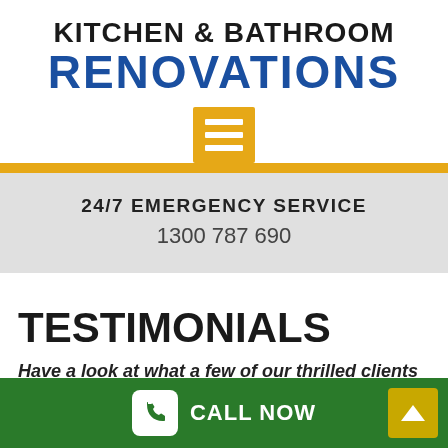KITCHEN & BATHROOM RENOVATIONS
[Figure (infographic): Hamburger menu icon: orange/yellow square with three white horizontal lines]
24/7 EMERGENCY SERVICE
1300 787 690
TESTIMONIALS
Have a look at what a few of our thrilled clients have to say about our team!
CALL NOW